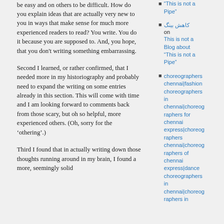be easy and on others to be difficult. How do you explain ideas that are actually very new to you in ways that make sense for much more experienced readers to read? You write. You do it because you are supposed to. And, you hope, that you don't writing something embarrassing.
Second I learned, or rather confirmed, that I needed more in my historiography and probably need to expand the writing on some entries already in this section. This will come with time and I am looking forward to comments back from those scary, but oh so helpful, more experienced others. (Oh, sorry for the ‘othering’.)
Third I found that in actually writing down those thoughts running around in my brain, I found a more, seemingly solid...
"This is not a Pipe"
كاهش بینگ on This is not a Blog about "This is not a Pipe"
choreographers chennai|fashion choreographers in chennai|choreographers for chennai express|choreographers chennai|choreographers of chennai express|dance choreographers in chennai|choreographers in